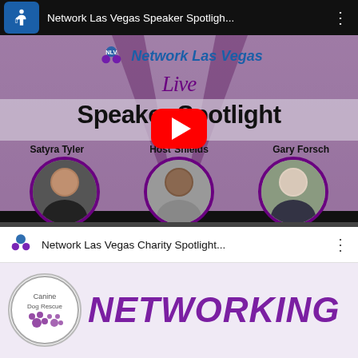[Figure (screenshot): YouTube video thumbnail for 'Network Las Vegas Speaker Spotligh...' showing a Speaker Spotlight event with three participants: Satyra Tyler (left), Host Shields (center), and Gary Forsch (right), with Network Las Vegas Live branding and a YouTube play button overlay.]
[Figure (screenshot): YouTube video thumbnail for 'Network Las Vegas Charity Spotlight...' showing the word NETWORKING in large purple italic text alongside a circular logo with dog paw prints.]